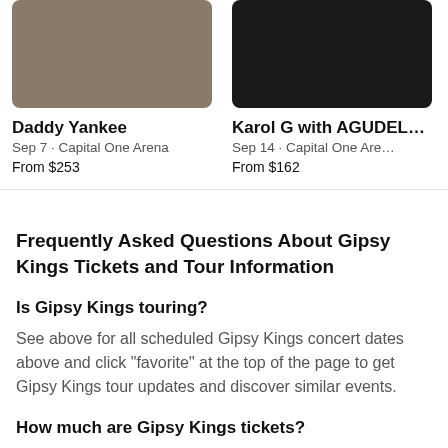[Figure (photo): Partial view of Daddy Yankee artist card with photo]
Daddy Yankee
Sep 7 · Capital One Arena
From $253
[Figure (photo): Partial view of Karol G with AGUDEL... artist card with photo]
Karol G with AGUDEL…
Sep 14 · Capital One Are…
From $162
[Figure (photo): Partial cropped artist card (partially visible, starts with 'Ba')]
Bar…
Sep…
Fron…
Frequently Asked Questions About Gipsy Kings Tickets and Tour Information
Is Gipsy Kings touring?
See above for all scheduled Gipsy Kings concert dates above and click "favorite" at the top of the page to get Gipsy Kings tour updates and discover similar events.
How much are Gipsy Kings tickets?